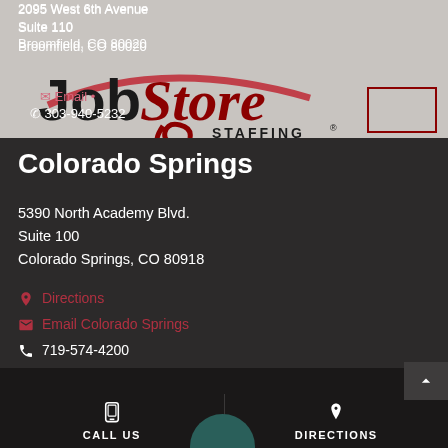2095 West 6th Avenue
Suite 110
Broomfield, CO 80020
[Figure (logo): JobStore Staffing logo with red arc and swirl design]
Email •
303-940-5232
Colorado Springs
5390 North Academy Blvd.
Suite 100
Colorado Springs, CO 80918
Directions
Email Colorado Springs
719-574-4200
CALL US    DIRECTIONS